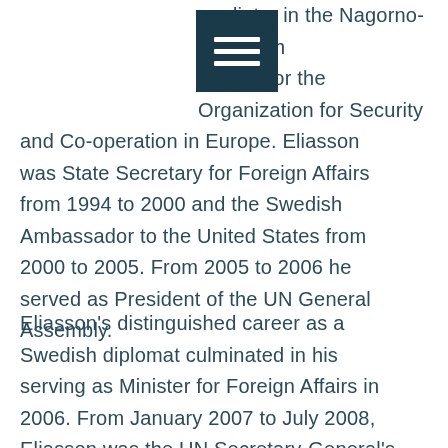[Figure (other): Hamburger menu icon — dark teal square with three horizontal white bars]
mediator in the Nagorno-Karabakh conflict for the Organization for Security and Co-operation in Europe. Eliasson was State Secretary for Foreign Affairs from 1994 to 2000 and the Swedish Ambassador to the United States from 2000 to 2005. From 2005 to 2006 he served as President of the UN General Assembly.
Eliasson's distinguished career as a Swedish diplomat culminated in his serving as Minister for Foreign Affairs in 2006. From January 2007 to July 2008, Eliasson was the UN Secretary-General's Special Envoy for Darfur. On 2 March 2012, Jan Eliasson was appointed Deputy Secretary-General of the UN by Secretary-General Ban Ki-moon. He took